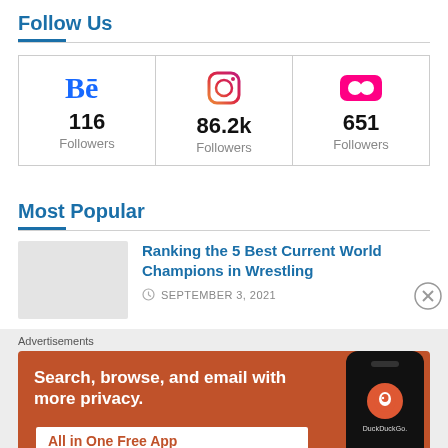Follow Us
| Behance | Instagram | Flickr |
| --- | --- | --- |
| 116 Followers | 86.2k Followers | 651 Followers |
Most Popular
[Figure (photo): Thumbnail image placeholder for wrestling article]
Ranking the 5 Best Current World Champions in Wrestling
SEPTEMBER 3, 2021
Advertisements
[Figure (screenshot): DuckDuckGo advertisement banner: Search, browse, and email with more privacy. All in One Free App. Shows DuckDuckGo logo on a phone mockup.]